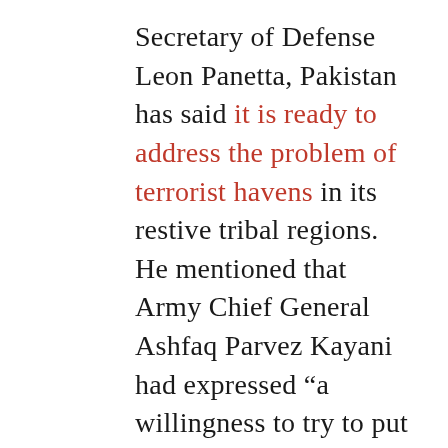Secretary of Defense Leon Panetta, Pakistan has said it is ready to address the problem of terrorist havens in its restive tribal regions. He mentioned that Army Chief General Ashfaq Parvez Kayani had expressed “a willingness to try to put more pressure on safe havens,” and that the U.S. was very encouraged by it. Panetta stated his